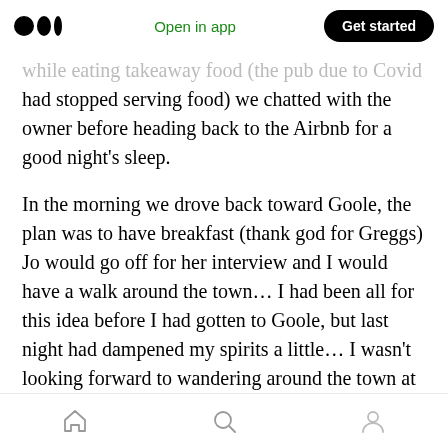Medium logo | Open in app | Get started
…while eating takeaway food (the pub due to Covid had stopped serving food) we chatted with the owner before heading back to the Airbnb for a good night's sleep.
In the morning we drove back toward Goole, the plan was to have breakfast (thank god for Greggs) Jo would go off for her interview and I would have a walk around the town… I had been all for this idea before I had gotten to Goole, but last night had dampened my spirits a little… I wasn't looking forward to wandering around the town at all.
Home | Search | Profile